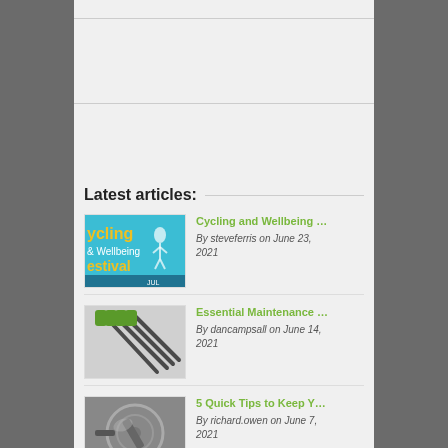Latest articles:
[Figure (illustration): Cycling and Wellbeing Festival promotional image with yellow and teal colors]
Cycling and Wellbeing …
By steveferris on June 23, 2021
[Figure (photo): Green and black screwdrivers arranged diagonally on grey background]
Essential Maintenance …
By dancampsall on June 14, 2021
[Figure (photo): Close-up of bicycle gearing/pedal mechanism]
5 Quick Tips to Keep Y…
By richard.owen on June 7, 2021